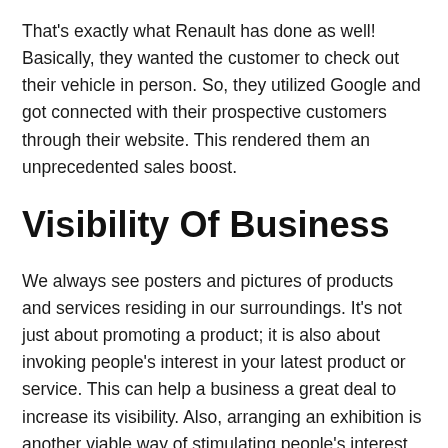That's exactly what Renault has done as well! Basically, they wanted the customer to check out their vehicle in person. So, they utilized Google and got connected with their prospective customers through their website. This rendered them an unprecedented sales boost.
Visibility Of Business
We always see posters and pictures of products and services residing in our surroundings. It's not just about promoting a product; it is also about invoking people's interest in your latest product or service. This can help a business a great deal to increase its visibility. Also, arranging an exhibition is another viable way of stimulating people's interest in your service. In that regard, Renault organizes Expo's